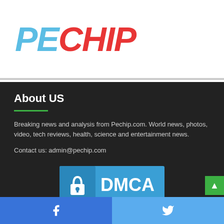[Figure (logo): PECHIP logo with PE in light blue italic and CHIP in red italic, bold stylized text]
About US
Breaking news and analysis from Pechip.com. World news, photos, video, tech reviews, health, science and entertainment news.
Contact us: admin@pechip.com
[Figure (logo): DMCA Protected badge with padlock icon on blue background and PROTECTED text below]
Facebook and Twitter social media links